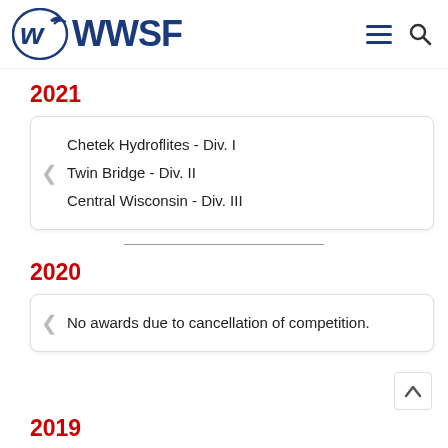WWSF
2021
Chetek Hydroflites - Div. I
Twin Bridge - Div. II
Central Wisconsin - Div. III
2020
No awards due to cancellation of competition.
2019